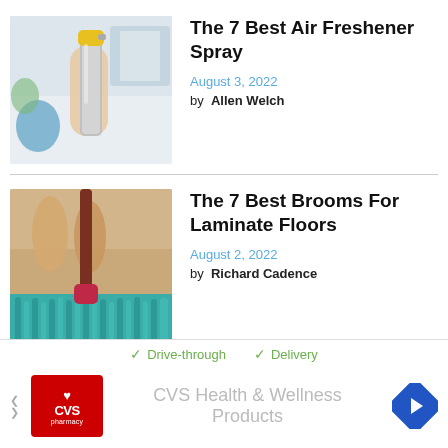[Figure (photo): A hand holding a silver aerosol air freshener spray can with a yellow cap, indoors with blurred background.]
The 7 Best Air Freshener Spray
August 3, 2022
by  Allen Welch
[Figure (photo): A mop with a colorful pink/red handle cleaning a teal shaggy floor mat, with dog legs visible in background.]
The 7 Best Brooms For Laminate Floors
August 2, 2022
by  Richard Cadence
[Figure (advertisement): CVS Pharmacy advertisement banner showing Drive-through and Delivery checkmarks, CVS logo, navigation arrow icon, and text CVS Health & Wellness Products.]